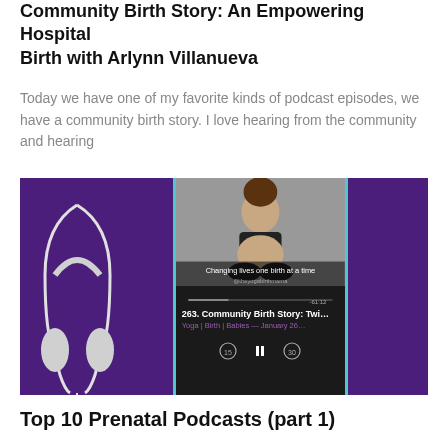Community Birth Story: An Empowering Hospital Birth with Arlynn Villanueva
Today we have one of my favorite kinds of podcast episodes, we have a community birth story. I love hearing from the community and hearing
[Figure (screenshot): Screenshot of a podcast app showing episode 263. Community Birth Story: Twin... on Yoga | Birth | Babies — January 26, with a pregnant woman photo and playback controls, on a purple background with headphones.]
Top 10 Prenatal Podcasts (part 1)